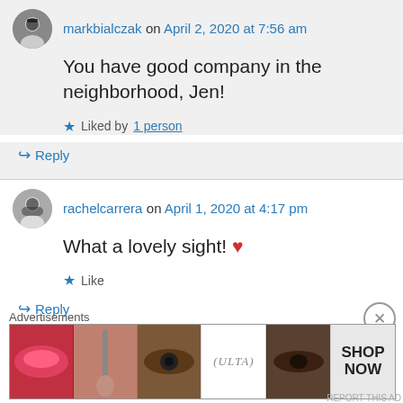markbialczak on April 2, 2020 at 7:56 am
You have good company in the neighborhood, Jen!
Liked by 1 person
Reply
rachelcarrera on April 1, 2020 at 4:17 pm
What a lovely sight! ❤
Like
Reply
Advertisements